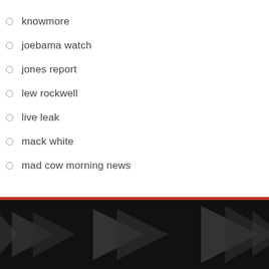knowmore
joebama watch
jones report
lew rockwell
live leak
mack white
mad cow morning news